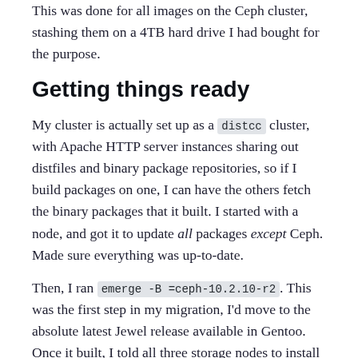This was done for all images on the Ceph cluster, stashing them on a 4TB hard drive I had bought for the purpose.
Getting things ready
My cluster is actually set up as a distcc cluster, with Apache HTTP server instances sharing out distfiles and binary package repositories, so if I build packages on one, I can have the others fetch the binary packages that it built. I started with a node, and got it to update all packages except Ceph. Made sure everything was up-to-date.
Then, I ran emerge -B =ceph-10.2.10-r2. This was the first step in my migration, I'd move to the absolute latest Jewel release available in Gentoo. Once it built, I told all three storage nodes to install it (emerge -g =ceph-10.2.10-r2). This was followed up by a re-start of the mon daemons on each node (one at a time), then the